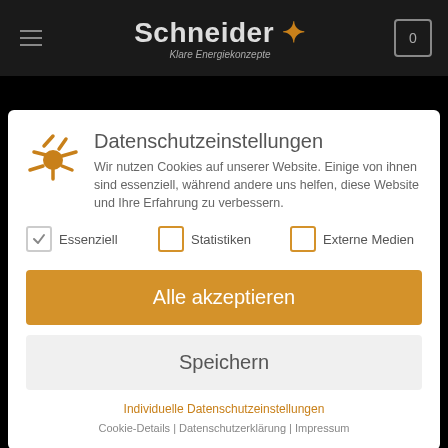[Figure (screenshot): Schneider website header with hamburger menu, brand logo 'Schneider' with tagline 'Klare Energiekonzepte', and cart icon on dark background]
Datenschutzeinstellungen
Wir nutzen Cookies auf unserer Website. Einige von ihnen sind essenziell, während andere uns helfen, diese Website und Ihre Erfahrung zu verbessern.
Essenziell (checked)
Statistiken (unchecked)
Externe Medien (unchecked)
Alle akzeptieren
Speichern
Individuelle Datenschutzeinstellungen
Cookie-Details | Datenschutzerklärung | Impressum